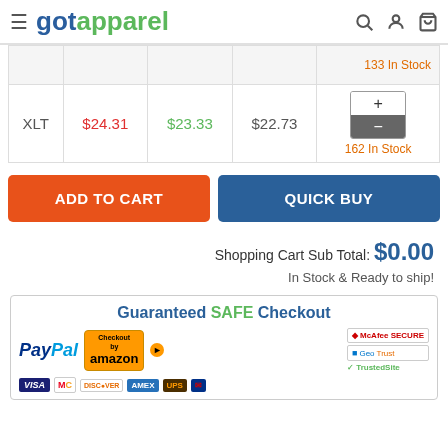gotapparel
|  |  |  |  |  |
| --- | --- | --- | --- | --- |
|  |  |  |  | 133 In Stock |
| XLT | $24.31 | $23.33 | $22.73 | 162 In Stock |
ADD TO CART   QUICK BUY
Shopping Cart Sub Total: $0.00
In Stock & Ready to ship!
Guaranteed SAFE Checkout
[Figure (logo): Payment logos: PayPal, Checkout by Amazon, McAfee SECURE, GeoTrust, TrustedSite, VISA, MasterCard, Discover, AMEX, UPS, USPS]